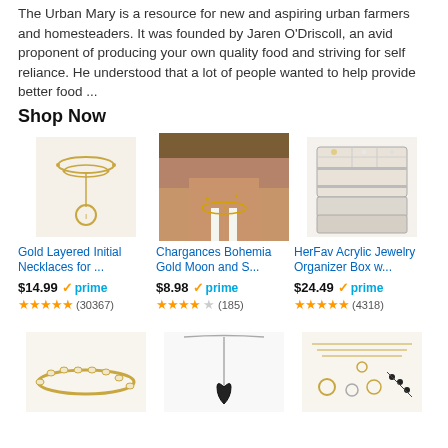The Urban Mary is a resource for new and aspiring urban farmers and homesteaders. It was founded by Jaren O'Driscoll, an avid proponent of producing your own quality food and striving for self reliance. He understood that a lot of people wanted to help provide better food ...
Shop Now
[Figure (photo): Gold layered initial necklace product image]
[Figure (photo): Chargances Bohemia gold moon and star necklace worn by model]
[Figure (photo): HerFav Acrylic Jewelry Organizer Box product image]
Gold Layered Initial Necklaces for ...
$14.99 ✓prime ★★★★★ (30367)
Chargances Bohemia Gold Moon and S...
$8.98 ✓prime ★★★★☆ (185)
HerFav Acrylic Jewelry Organizer Box w...
$24.49 ✓prime ★★★★★ (4318)
[Figure (photo): Gold tennis bracelet product image]
[Figure (photo): Silver heart pendant necklace product image]
[Figure (photo): Gold jewelry set with multiple necklaces and rings]